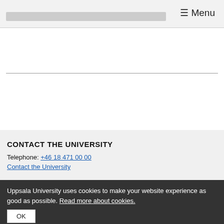≡ Menu
CONTACT THE UNIVERSITY
Telephone: +46 18 471 00 00
Contact the University
Uppsala University uses cookies to make your website experience as good as possible. Read more about cookies.